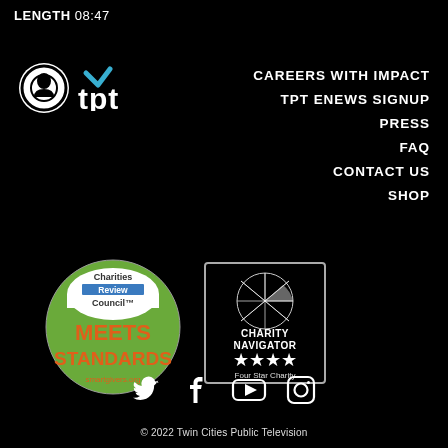LENGTH 08:47
[Figure (logo): PBS logo (circular gear/head icon) and TPT logo in white/teal on black background]
CAREERS WITH IMPACT
TPT ENEWS SIGNUP
PRESS
FAQ
CONTACT US
SHOP
[Figure (logo): Charities Review Council MEETS STANDARDS badge – green circle with orange text, smartgivers.org]
[Figure (logo): Charity Navigator Four Star Charity badge – white box with geometric star/globe and 4 stars]
[Figure (logo): Social media icons: Twitter, Facebook, YouTube, Instagram in white]
© 2022 Twin Cities Public Television